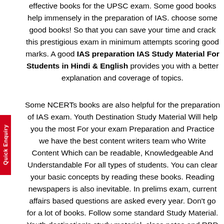effective books for the UPSC exam. Some good books help immensely in the preparation of IAS. choose some good books! So that you can save your time and crack this prestigious exam in minimum attempts scoring good marks. A good IAS preparation IAS Study Material For Students in Hindi & English provides you with a better explanation and coverage of topics.
Some NCERTs books are also helpful for the preparation of IAS exam. Youth Destination Study Material Will help you the most For your exam Preparation and Practice we have the best content writers team who Write Content Which can be readable, Knowledgeable And Understandable For all types of students. You can clear your basic concepts by reading these books. Reading newspapers is also inevitable. In prelims exam, current affairs based questions are asked every year. Don't go for a lot of books. Follow some standard Study Material. Youth destination's study material, class notes and RBD publication books will be